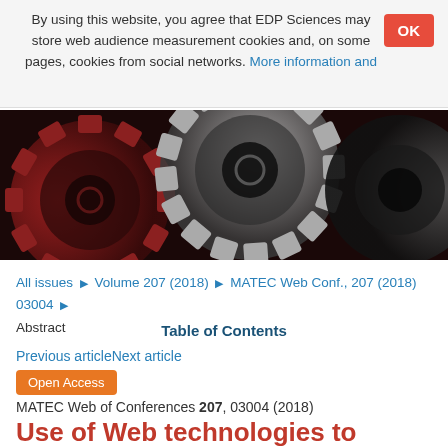By using this website, you agree that EDP Sciences may store web audience measurement cookies and, on some pages, cookies from social networks. More information and
[Figure (photo): Close-up photograph of interlocking metal gears with red and dark tones]
All issues ▶ Volume 207 (2018) ▶ MATEC Web Conf., 207 (2018) 03004 ▶ Abstract
Table of Contents
Previous articleNext article
Open Access
MATEC Web of Conferences 207, 03004 (2018)
Use of Web technologies to create